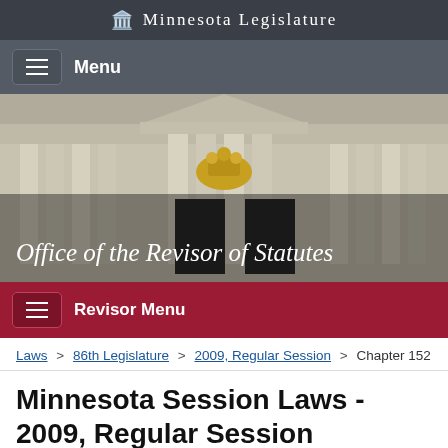Minnesota Legislature
Menu
[Figure (photo): Minnesota State Capitol building exterior, classical architecture with columns and a golden statue group, with overlay text 'Office of the Revisor of Statutes']
Revisor Menu
Laws > 86th Legislature > 2009, Regular Session > Chapter 152
Minnesota Session Laws - 2009, Regular Session